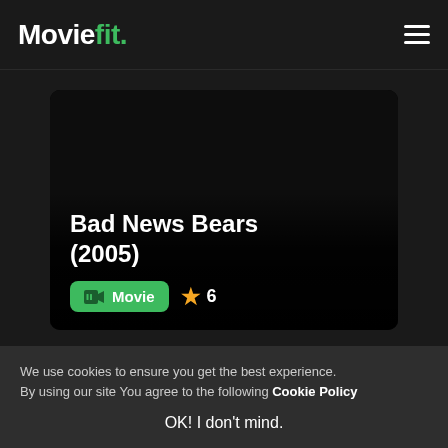Moviefit.
[Figure (screenshot): Movie card for Bad News Bears (2005) with black background, showing title, Movie badge in green, and star rating of 6]
Bad News Bears (2005)
Movie  ★ 6
We use cookies to ensure you get the best experience. By using our site You agree to the following Cookie Policy
OK! I don't mind.